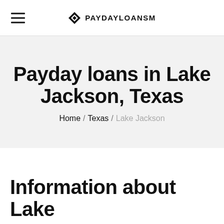PAYDAYLOANSM
Payday loans in Lake Jackson, Texas
Home / Texas / Lake Jackson
Information about Lake